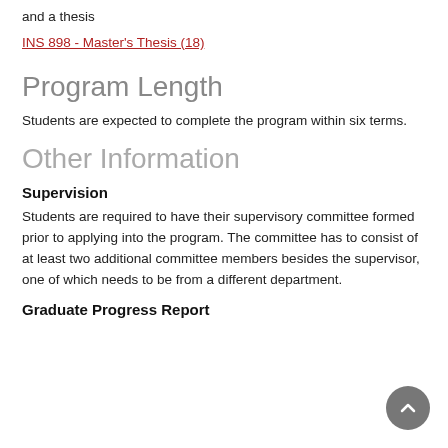and a thesis
INS 898 - Master's Thesis (18)
Program Length
Students are expected to complete the program within six terms.
Other Information
Supervision
Students are required to have their supervisory committee formed prior to applying into the program. The committee has to consist of at least two additional committee members besides the supervisor, one of which needs to be from a different department.
Graduate Progress Report